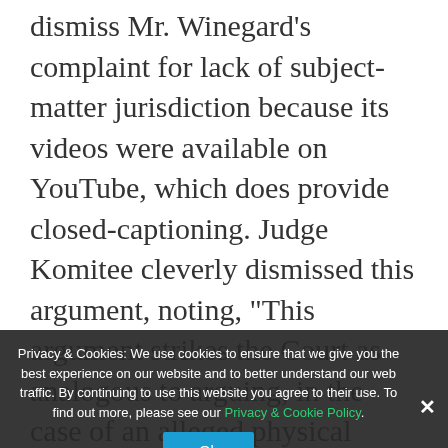dismiss Mr. Winegard's complaint for lack of subject-matter jurisdiction because its videos were available on YouTube, which does provide closed-captioning. Judge Komitee cleverly dismissed this argument, noting, "This argument strikes the Court as analogous to arguing, in the case of an alleged physical barrier, that a disabled person suffers no injury sufficient to confer standing so long as an accessible store down the block offers the same product."
Privacy & Cookies: We use cookies to ensure that we give you the best experience on our website and to better understand our web traffic. By continuing to use this website you agree to their use. To find out more, please see our Privacy & Cookie Policy.
the Quo part of the Opinion came next when the Judge Komitee focused on the portion of the defendant's motion to dismiss that argued